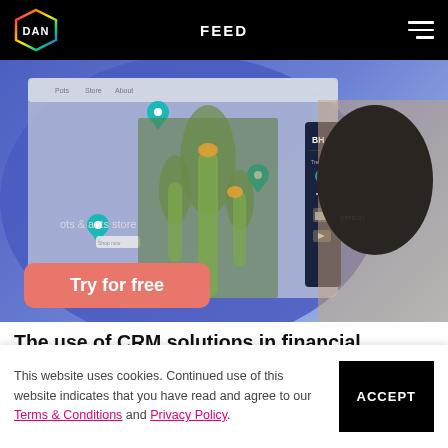DAN | FEED
[Figure (screenshot): A website screenshot showing a CRM tool with map pins over a cactus plant image and a man in glasses and green shirt in the background. A coral/salmon 'Try for free' button is visible at the bottom left of the image.]
The use of CRM solutions in financial services
This website uses cookies. Continued use of this website indicates that you have read and agree to our Terms & Conditions and Privacy Policy.